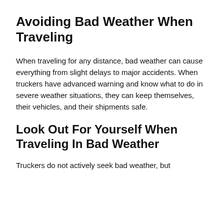Avoiding Bad Weather When Traveling
When traveling for any distance, bad weather can cause everything from slight delays to major accidents. When truckers have advanced warning and know what to do in severe weather situations, they can keep themselves, their vehicles, and their shipments safe.
Look Out For Yourself When Traveling In Bad Weather
Truckers do not actively seek bad weather, but